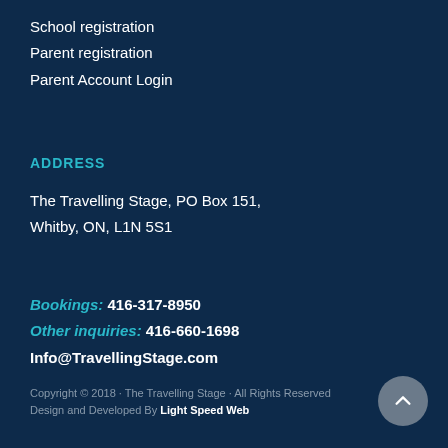School registration
Parent registration
Parent Account Login
ADDRESS
The Travelling Stage, PO Box 151, Whitby, ON, L1N 5S1
Bookings: 416-317-8950
Other inquiries: 416-660-1698
Info@TravellingStage.com
Copyright © 2018 · The Travelling Stage · All Rights Reserved Design and Developed By Light Speed Web